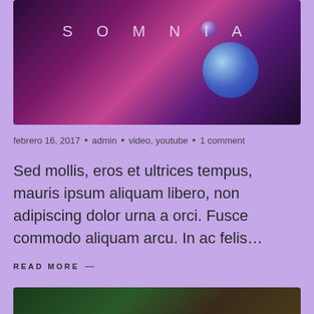[Figure (photo): Dark atmospheric image with text 'SOMNIA' in spaced letters, purple/magenta tones with glowing spheres]
febrero 16, 2017 • admin • video, youtube • 1 comment
Sed mollis, eros et ultrices tempus, mauris ipsum aliquam libero, non adipiscing dolor urna a orci. Fusce commodo aliquam arcu. In ac felis...
READ MORE →
[Figure (photo): Bottom partial image with dark green tones, partially visible]